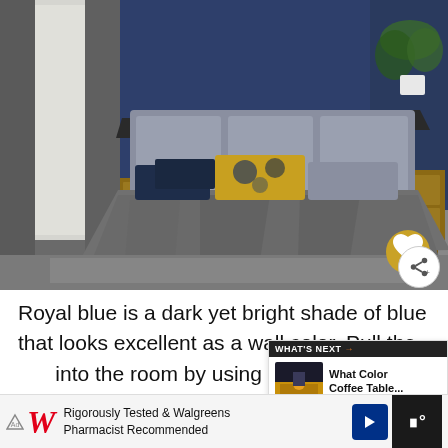[Figure (photo): A bedroom interior with royal blue walls, a large bed with grey bedding and yellow/blue accent pillows, grey upholstered headboard, wooden nightstands, grey carpet, and white curtains. A heart/like button overlay and share button are visible in the lower right corner.]
Royal blue is a dark yet bright shade of blue that looks excellent as a wall color. Pull the into the room by using the color in items like the
[Figure (other): What's Next promotional overlay showing a thumbnail of a room with text 'What Color Coffee Table...']
Rigorously Tested & Walgreens Pharmacist Recommended